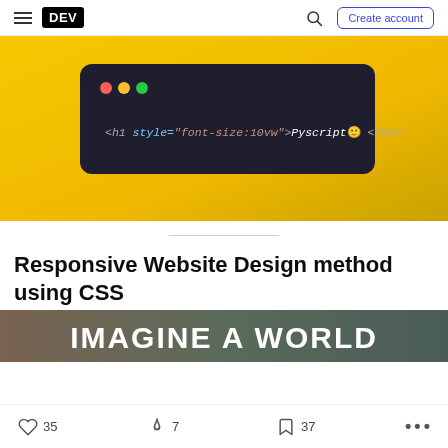DEV  Create account
[Figure (screenshot): Yellow gradient background with a dark rounded code editor window showing: <h1 style="font-size:10vw">Pyscript 🙂 </h1>]
Responsive Website Design method using CSS
[Figure (photo): Partial image strip with bold white text reading IMAGINE A WORLD on a muted background]
♡ 35   🔥 7   □ 37   ...